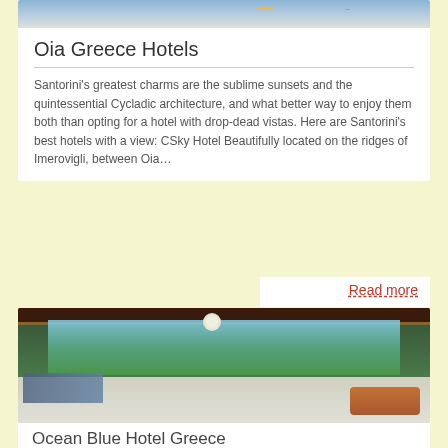[Figure (photo): Top banner image showing fruits and hotel setting with blue and yellow tones]
Oia Greece Hotels
Santorini's greatest charms are the sublime sunsets and the quintessential Cycladic architecture, and what better way to enjoy them both than opting for a hotel with drop-dead vistas. Here are Santorini's best hotels with a view: CSky Hotel Beautifully located on the ridges of Imerovigli, between Oia…
Read more
[Figure (photo): Hotel lobby interior with blue and orange furnishings, large windows overlooking greenery, pendant light, and bar area]
Ocean Blue Hotel Greece